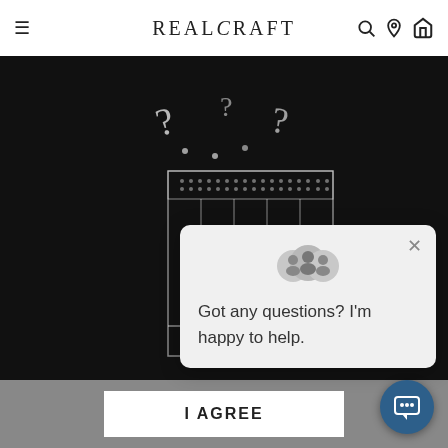REALCRAFT
[Figure (illustration): Dark background with white line drawing of a furniture piece (wardrobe/bookshelf) and question mark decorative elements above it]
We use cookies on our we... shopping experience. By u... of cookies.
[Figure (infographic): Chat popup with group avatar icons and text: Got any questions? I'm happy to help.]
Got any questions? I'm happy to help.
I AGREE